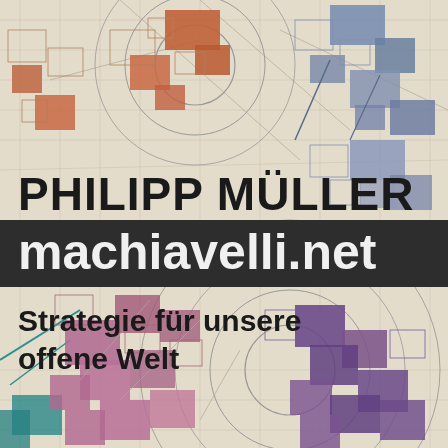[Figure (illustration): Book cover background with an abstract geometric map-like design. Colored rectangular blocks in terracotta/orange (top left and top center), blue/steel (top right and right side), mauve/pink (bottom left center), and purple (bottom right) are arranged over a light beige/cream background with faint grid lines and concentric circles suggesting urban planning maps or network diagrams.]
PHILIPP MÜLLER
machiavelli.net
Strategie für unsere offene Welt